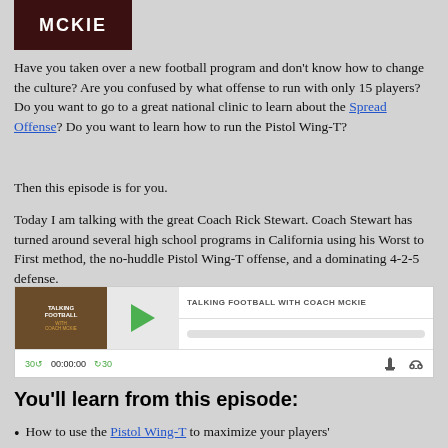[Figure (logo): MCKiE logo in dark brown/maroon background with white pixelated text]
Have you taken over a new football program and don’t know how to change the culture? Are you confused by what offense to run with only 15 players? Do you want to go to a great national clinic to learn about the Spread Offense? Do you want to learn how to run the Pistol Wing-T?
Then this episode is for you.
Today I am talking with the great Coach Rick Stewart. Coach Stewart has turned around several high school programs in California using his Worst to First method, the no-huddle Pistol Wing-T offense, and a dominating 4-2-5 defense.
[Figure (screenshot): Podcast audio player widget for Talking Football with Coach McKie showing play button, progress bar, time counter 00:00:00, skip controls 30 back and forward, download and headphones icons]
You’ll learn from this episode:
How to use the Pistol Wing-T to maximize your players’...